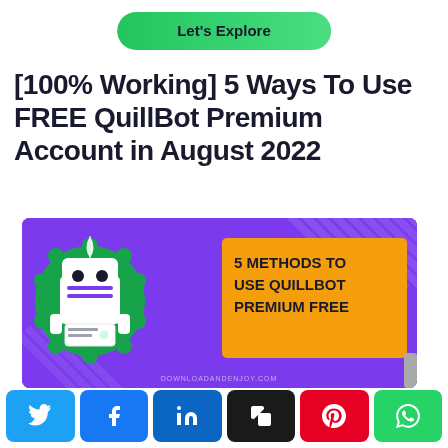Let's Explore
[100% Working] 5 Ways To Use FREE QuillBot Premium Account in August 2022
[Figure (illustration): Promotional graphic with purple background, robot mascot with green badge on left, and yellow card on right reading '5 METHODS TO USE QUILLBOT PREMIUM FREE'. Watermark reads 'DOWNLOADANDENJOY.COM']
Twitter | Facebook | LinkedIn | Copy | Pinterest | WhatsApp social share buttons